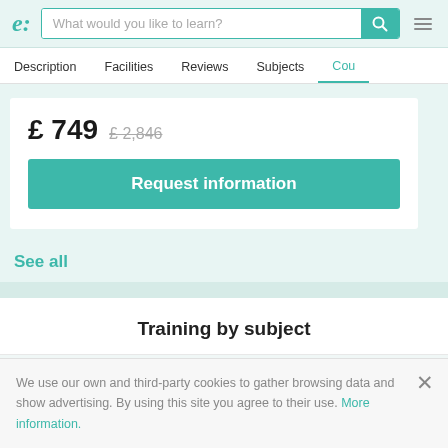e: | What would you like to learn?
Description | Facilities | Reviews | Subjects | Cou...
£ 749  £ 2,846
Request information
See all
Training by subject
We use our own and third-party cookies to gather browsing data and show advertising. By using this site you agree to their use. More information.